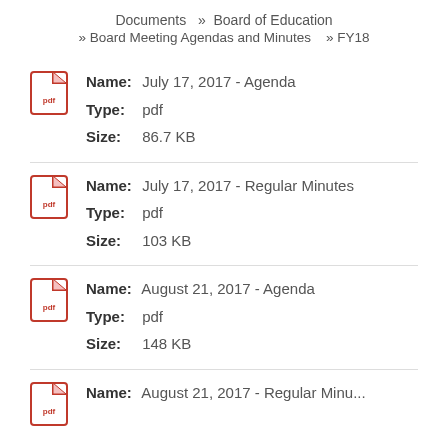Documents » Board of Education
» Board Meeting Agendas and Minutes   » FY18
Name: July 17, 2017 - Agenda | Type: pdf | Size: 86.7 KB
Name: July 17, 2017 - Regular Minutes | Type: pdf | Size: 103 KB
Name: August 21, 2017 - Agenda | Type: pdf | Size: 148 KB
Name: August 21, 2017 - Regular Minutes (partial)